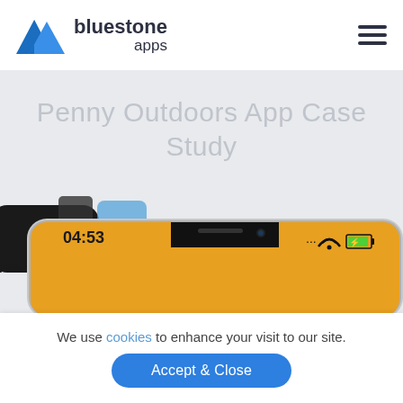[Figure (logo): Bluestone Apps logo with blue mountain triangle icon and company name text]
Penny Outdoors App Case Study
[Figure (photo): Close-up of iPhone X showing lock screen with time 04:53, orange status bar, device notch, Wi-Fi and battery icons. Blurred background with dark smartwatch and blue object.]
We use cookies to enhance your visit to our site.
Accept & Close